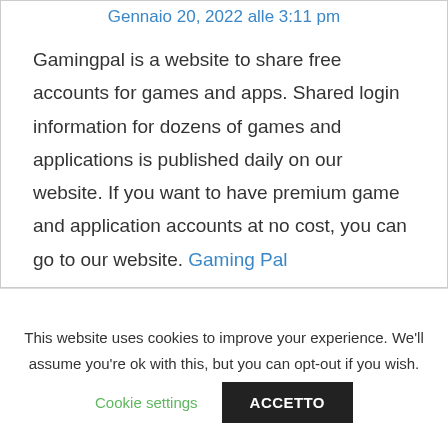Gennaio 20, 2022 alle 3:11 pm
Gamingpal is a website to share free accounts for games and apps. Shared login information for dozens of games and applications is published daily on our website. If you want to have premium game and application accounts at no cost, you can go to our website. Gaming Pal
This website uses cookies to improve your experience. We'll assume you're ok with this, but you can opt-out if you wish.
Cookie settings
ACCETTO